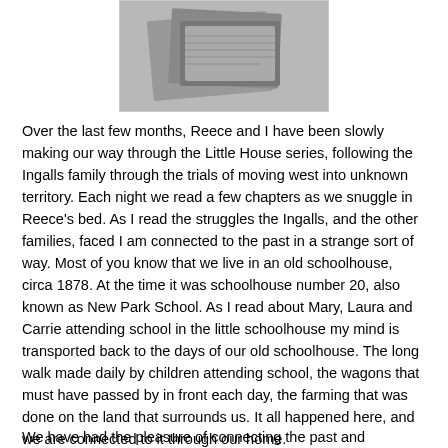[Figure (photo): A black and white photo of old documents/papers and what appears to be a photograph, arranged on a surface]
Over the last few months, Reece and I have been slowly making our way through the Little House series, following the Ingalls family through the trials of moving west into unknown territory. Each night we read a few chapters as we snuggle in Reece's bed. As I read the struggles the Ingalls, and the other families, faced I am connected to the past in a strange sort of way. Most of you know that we live in an old schoolhouse, circa 1878. At the time it was schoolhouse number 20, also known as New Park School. As I read about Mary, Laura and Carrie attending school in the little schoolhouse my mind is transported back to the days of our old schoolhouse. The long walk made daily by children attending school, the wagons that must have passed by in front each day, the farming that was done on the land that surrounds us. It all happened here, and we are connected to it through our home.
We have had the pleasure of connecting the past and present...